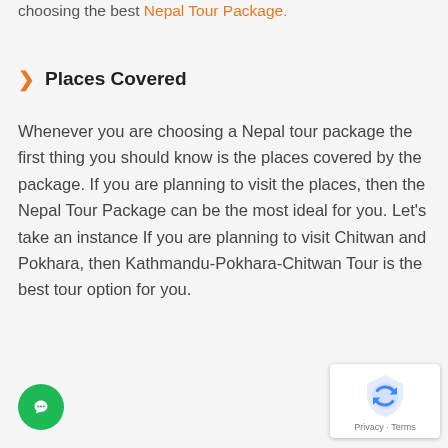choosing the best Nepal Tour Package.
Places Covered
Whenever you are choosing a Nepal tour package the first thing you should know is the places covered by the package. If you are planning to visit the places, then the Nepal Tour Package can be the most ideal for you. Let’s take an instance If you are planning to visit Chitwan and Pokhara, then Kathmandu-Pokhara-Chitwan Tour is the best tour option for you.